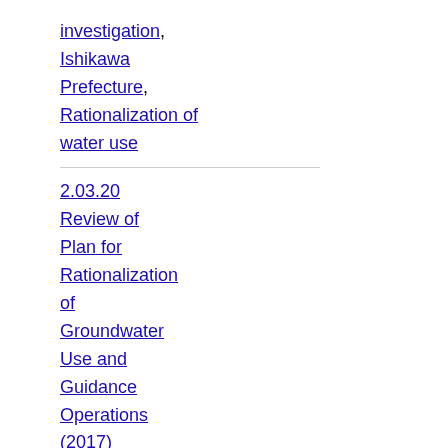investigation, Ishikawa Prefecture, Rationalization of water use
2.03.20 Review of Plan for Rationalization of Groundwater Use and Guidance Operations (2017)
Search for keyword: Groundwater investigation,